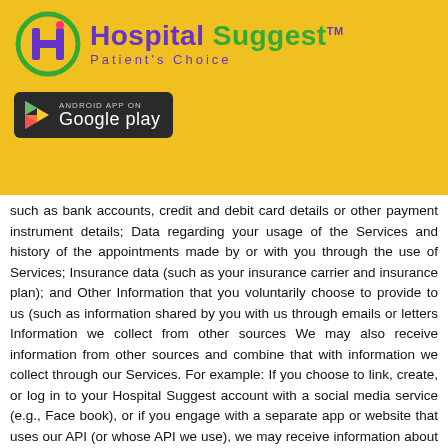[Figure (logo): Hospital Suggest Patient's Choice logo with green and purple branding, TM mark]
[Figure (screenshot): Android App on Google Play badge with dark background]
such as bank accounts, credit and debit card details or other payment instrument details; Data regarding your usage of the Services and history of the appointments made by or with you through the use of Services; Insurance data (such as your insurance carrier and insurance plan); and Other Information that you voluntarily choose to provide to us (such as information shared by you with us through emails or letters Information we collect from other sources We may also receive information from other sources and combine that with information we collect through our Services. For example: If you choose to link, create, or log in to your Hospital Suggest account with a social media service (e.g., Face book), or if you engage with a separate app or website that uses our API (or whose API we use), we may receive information about you or your connections from that site or app. Information you provide or enable collection through apps or other software features We may also seek permission for our app's collection and syncing of contact information from your communications device in accordance with the permission system used by your mobile operating system. You may alter or disable the collection